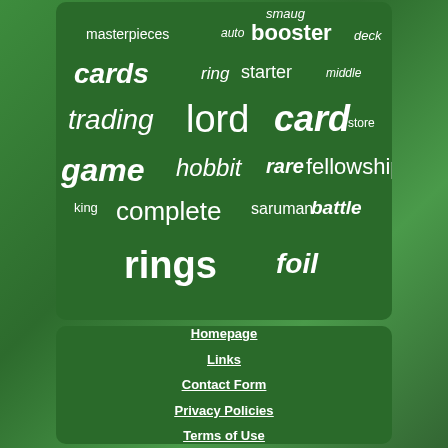[Figure (infographic): Word cloud on dark green background featuring terms related to Lord of the Rings trading card game: booster, smaug, masterpieces, auto, deck, cards, ring, starter, middle, trading, lord, card, store, game, hobbit, rare, fellowship, king, complete, saruman, battle, rings, foil]
Homepage
Links
Contact Form
Privacy Policies
Terms of Use